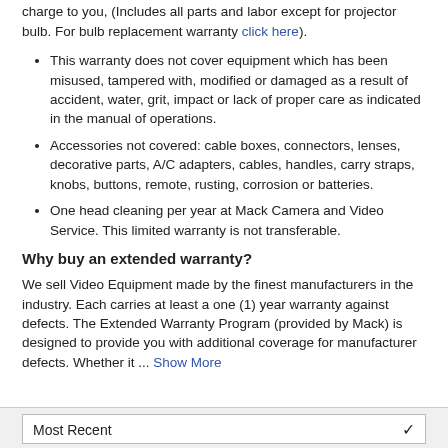charge to you, (Includes all parts and labor except for projector bulb. For bulb replacement warranty click here).
This warranty does not cover equipment which has been misused, tampered with, modified or damaged as a result of accident, water, grit, impact or lack of proper care as indicated in the manual of operations.
Accessories not covered: cable boxes, connectors, lenses, decorative parts, A/C adapters, cables, handles, carry straps, knobs, buttons, remote, rusting, corrosion or batteries.
One head cleaning per year at Mack Camera and Video Service. This limited warranty is not transferable.
Why buy an extended warranty?
We sell Video Equipment made by the finest manufacturers in the industry. Each carries at least a one (1) year warranty against defects. The Extended Warranty Program (provided by Mack) is designed to provide you with additional coverage for manufacturer defects. Whether it ... Show More
Most Recent